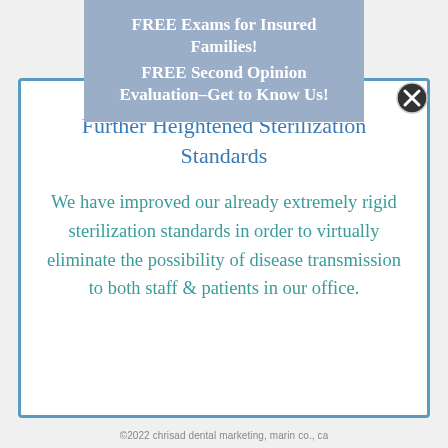FREE Exams for Insured Families! FREE Second Opinion Evaluation–Get to Know Us!
Further Heightened Sterilization Standards
We have improved our already extremely rigid sterilization standards in order to virtually eliminate the possibility of disease transmission to both staff & patients in our office.
©2022 chrisad dental marketing, marin co., ca